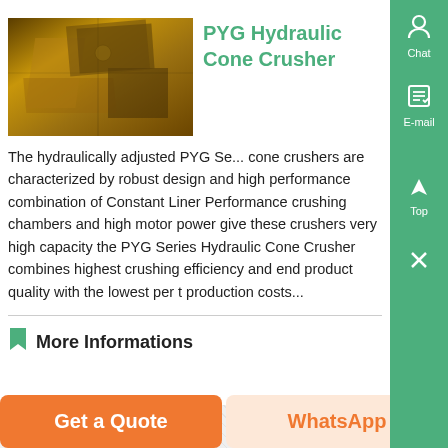[Figure (photo): Close-up photo of PYG Hydraulic Cone Crusher machinery showing metallic crushing components in golden/brown tones]
PYG Hydraulic Cone Crusher
The hydraulically adjusted PYG Se... cone crushers are characterized by robust design and high performance combination of Constant Liner Performance crushing chambers and high motor power give these crushers very high capacity the PYG Series Hydraulic Cone Crusher combines highest crushing efficiency and end product quality with the lowest per t production costs...
More Informations
Get a Quote | WhatsApp